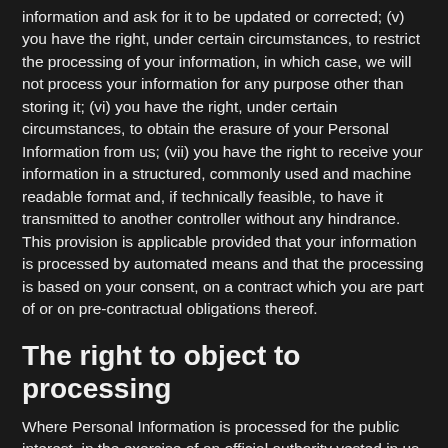information and ask for it to be updated or corrected; (v) you have the right, under certain circumstances, to restrict the processing of your information, in which case, we will not process your information for any purpose other than storing it; (vi) you have the right, under certain circumstances, to obtain the erasure of your Personal Information from us; (vii) you have the right to receive your information in a structured, commonly used and machine readable format and, if technically feasible, to have it transmitted to another controller without any hindrance. This provision is applicable provided that your information is processed by automated means and that the processing is based on your consent, on a contract which you are part of or on pre-contractual obligations thereof.
The right to object to processing
Where Personal Information is processed for the public interest, in the exercise of an official authority vested in us or for the purposes of the legitimate interests pursued by us, you may object to such processing by providing a ground related to your particular situation